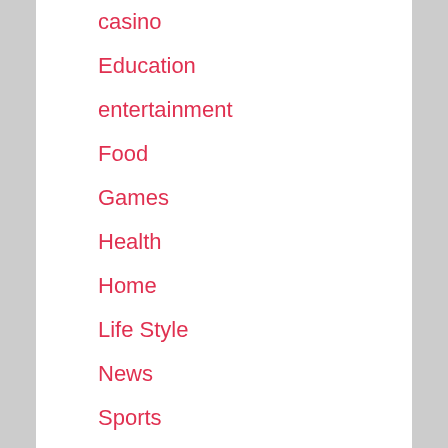casino
Education
entertainment
Food
Games
Health
Home
Life Style
News
Sports
Tech
Travel
Uncategorized